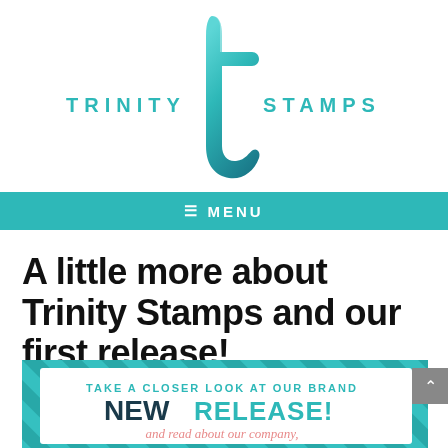[Figure (logo): Trinity Stamps logo: large teal-to-dark-teal letter 't' with gradient, flanked by 'TRINITY' on the left and 'STAMPS' on the right in teal spaced caps]
≡ MENU
A little more about Trinity Stamps and our first release!
Posted on May 30, 2018 by Taniesa Vlasak
[Figure (infographic): Promotional banner with teal diagonal stripe background. Text reads: 'TAKE A CLOSER LOOK AT OUR BRAND' then 'NEW RELEASE!' in large bold navy and teal letters, then 'and read about our company,' in pink cursive script.]